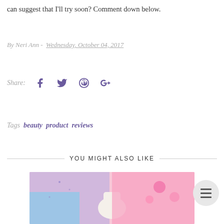can suggest that I'll try soon? Comment down below.
By Neri Ann - Wednesday, October 04, 2017
Share: [Facebook] [Twitter] [Pinterest] [Google+]
Tags  beauty  product  reviews
YOU MIGHT ALSO LIKE
[Figure (photo): Photo of beauty/hair bow products on pink fluffy background]